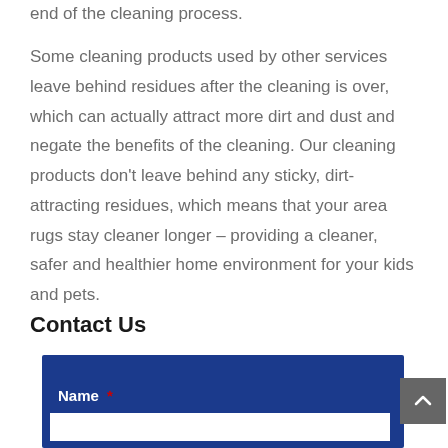end of the cleaning process.
Some cleaning products used by other services leave behind residues after the cleaning is over, which can actually attract more dirt and dust and negate the benefits of the cleaning. Our cleaning products don't leave behind any sticky, dirt-attracting residues, which means that your area rugs stay cleaner longer – providing a cleaner, safer and healthier home environment for your kids and pets.
Contact Us